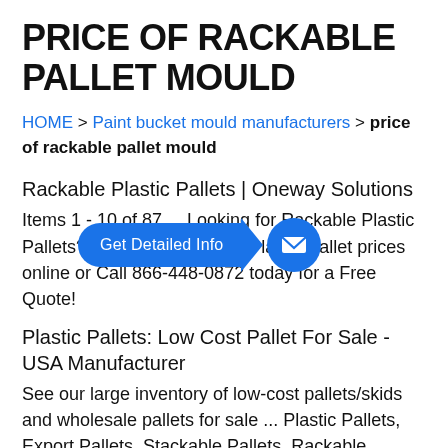PRICE OF RACKABLE PALLET MOULD
HOME > Paint bucket mould manufacturers > price of rackable pallet mould
Rackable Plastic Pallets | Oneway Solutions
Items 1 - 10 of 87 ... Looking for Rackable Plastic Pallets? Shop our Rackable Plastic Pallet prices online or Call 866-448-0872 today for a Free Quote!
[Figure (other): Blue CTA button overlay: arrow-shaped pill labeled 'Get Detailed Info' with a blue circle containing an envelope/mail icon]
Plastic Pallets: Low Cost Pallet For Sale - USA Manufacturer
See our large inventory of low-cost pallets/skids and wholesale pallets for sale ... Plastic Pallets, Export Pallets, Stackable Pallets, Rackable Pallets, ...
Edge Rackable Plastic Pallets | Uses & Benefits -